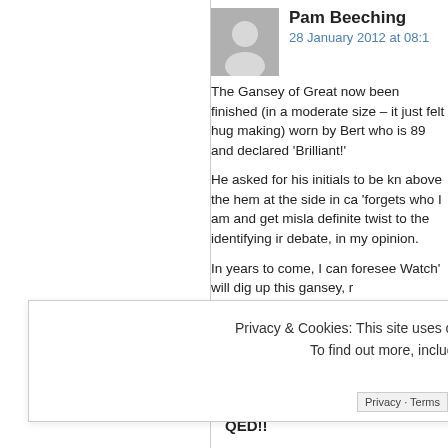Pam Beeching
28 January 2012 at 08:1
The Gansey of Great now been finished (in a moderate size – it just felt hug making) worn by Bert who is 89 and declared 'Brilliant!'
He asked for his initials to be kn above the hem at the side in ca 'forgets who I am and get misla definite twist to the identifying ir debate, in my opinion.
In years to come, I can foresee Watch' will dig up this gansey, r
Privacy & Cookies: This site uses cookies. By continuing to use this website, you agree to their use.
To find out more, including how to control cookies, see here: About Cookies
Close and accept
Privacy · Terms
QED!!